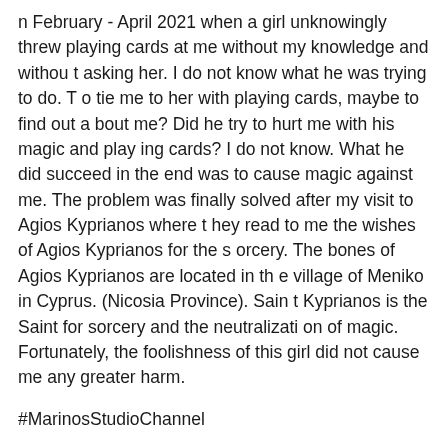n February - April 2021 when a girl unknowingly threw playing cards at me without my knowledge and without asking her. I do not know what he was trying to do. To tie me to her with playing cards, maybe to find out about me? Did he try to hurt me with his magic and playing cards? I do not know. What he did succeed in the end was to cause magic against me. The problem was finally solved after my visit to Agios Kyprianos where they read to me the wishes of Agios Kyprianos for the sorcery. The bones of Agios Kyprianos are located in the village of Meniko in Cyprus. (Nicosia Province). Saint Kyprianos is the Saint for sorcery and the neutralization of magic. Fortunately, the foolishness of this girl did not cause me any greater harm.
#MarinosStudioChannel
#MarinosAvraam
#ΜαρίνοςΑβραάμ